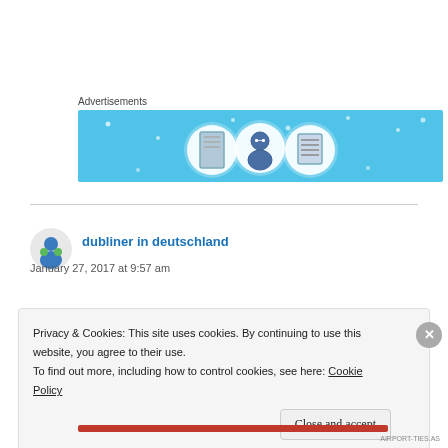Advertisements
[Figure (illustration): Advertisement banner with light blue background showing three circular icons: a notebook, a person/user avatar, and a list/document icon]
dubliner in deutschland
January 27, 2017 at 9:57 am
Privacy & Cookies: This site uses cookies. By continuing to use this website, you agree to their use.
To find out more, including how to control cookies, see here: Cookie Policy
Close and accept